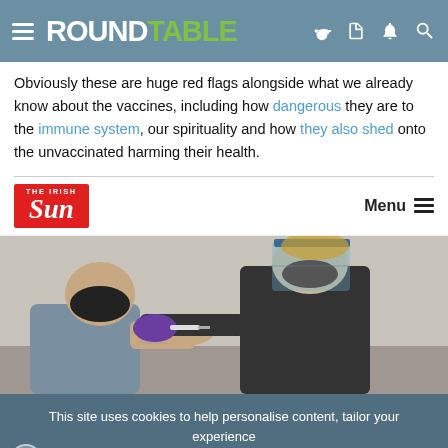Roundtable
Obviously these are huge red flags alongside what we already know about the vaccines, including how dangerous they are to the immune system, our spirituality and how they also shed onto the unvaccinated harming their health.
[Figure (screenshot): Screenshot of The Irish Sun website showing a navigation bar with The Irish Sun logo and Menu button, and below it a photo of a person in a black mask receiving a vaccine injection from a healthcare worker wearing a face shield and gloves.]
This site uses cookies to help personalise content, tailor your experience and to keep you logged in if you register. By continuing to use this site, you are consenting to our use of cookies.
ACCEPT   LEARN MORE...